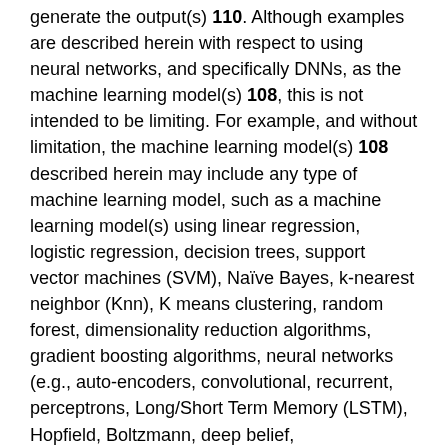generate the output(s) 110. Although examples are described herein with respect to using neural networks, and specifically DNNs, as the machine learning model(s) 108, this is not intended to be limiting. For example, and without limitation, the machine learning model(s) 108 described herein may include any type of machine learning model, such as a machine learning model(s) using linear regression, logistic regression, decision trees, support vector machines (SVM), Naïve Bayes, k-nearest neighbor (Knn), K means clustering, random forest, dimensionality reduction algorithms, gradient boosting algorithms, neural networks (e.g., auto-encoders, convolutional, recurrent, perceptrons, Long/Short Term Memory (LSTM), Hopfield, Boltzmann, deep belief, deconvolutional, generative adversarial, liquid state machine, etc.), and/or other types of machine learning models. Further, the machine learning model(s) 108 may be any machine learning model trained to detect any types and/or classes of objects, lines, etc. that the DNN is trained to predict. As such, the machine learning